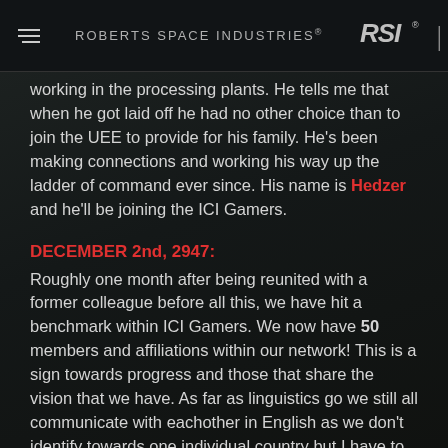ROBERTS SPACE INDUSTRIES®
working in the processing plants. He tells me that when he got laid off he had no other choice than to join the UEE to provide for his family. He's been making connections and working his way up the ladder of command ever since. His name is Hedzer and he'll be joining the ICI Gamers.
DECEMBER 2nd, 2947:
Roughly one month after being reunited with a former colleague before all this, we have hit a benchmark within ICI Gamers. We now have 50 members and affiliations within our network! This is a sign towards progress and those that share the vision that we have. As far as linguistics go we still all communicate with eachother in English as we don't identify towards one individual country but I have to mention that today we